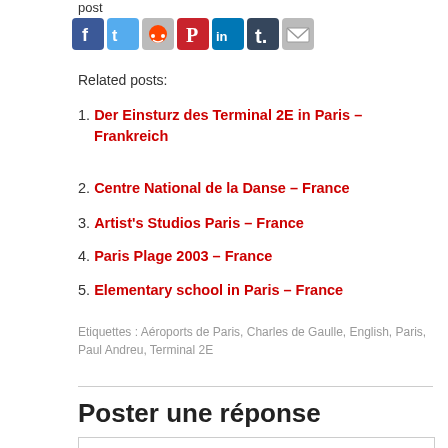post
[Figure (infographic): Row of social media sharing icons: Facebook (blue), Twitter (blue), Reddit (grey), Pinterest (red), LinkedIn (blue), Tumblr (dark blue), Email (grey)]
Related posts:
1. Der Einsturz des Terminal 2E in Paris – Frankreich
2. Centre National de la Danse – France
3. Artist's Studios Paris – France
4. Paris Plage 2003 – France
5. Elementary school in Paris – France
Etiquettes : Aéroports de Paris, Charles de Gaulle, English, Paris, Paul Andreu, Terminal 2E
Poster une réponse